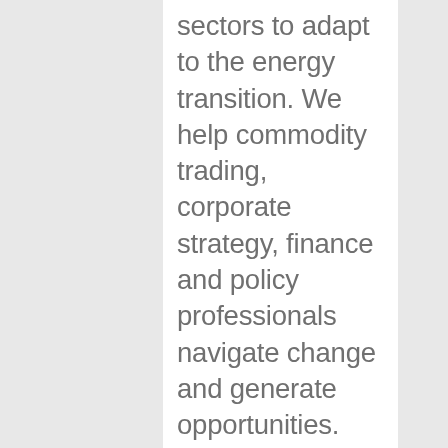sectors to adapt to the energy transition. We help commodity trading, corporate strategy, finance and policy professionals navigate change and generate opportunities.
Sign up for our free monthly newsletter →
YOU MIGHT ALSO LIKE
Report